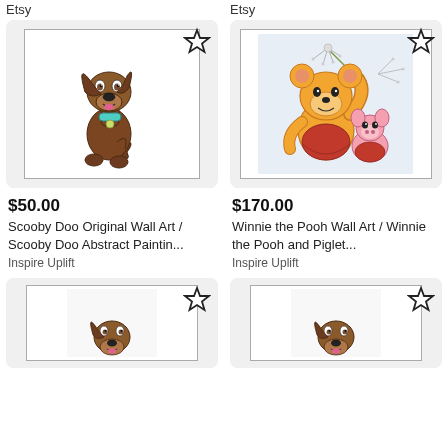Etsy
Etsy
[Figure (illustration): Scooby Doo original wall art painting - cartoon dog sitting upright with teal collar on white background, with star/favorite icon]
[Figure (illustration): Winnie the Pooh and Piglet wall art - Winnie the Pooh blowing dandelion seeds with Piglet on light blue background, with star/favorite icon]
$50.00
Scooby Doo Original Wall Art / Scooby Doo Abstract Paintin...
Inspire Uplift
$170.00
Winnie the Pooh Wall Art / Winnie the Pooh and Piglet...
Inspire Uplift
[Figure (illustration): Partial bottom card - Scooby Doo art with star icon, cropped]
[Figure (illustration): Partial bottom card - Scooby Doo art with star icon, cropped]